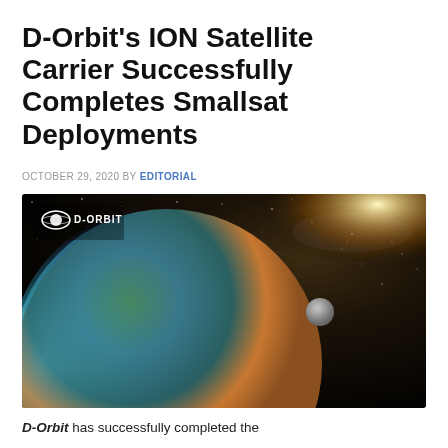D-Orbit's ION Satellite Carrier Successfully Completes Smallsat Deployments
OCTOBER 29, 2020 BY EDITORIAL
[Figure (illustration): D-Orbit branded image showing Earth from space with the galaxy visible in the background. The D-Orbit logo with a stylized Saturn ring icon and the text 'D-ORBIT' appears in the top-left corner.]
D-Orbit has successfully completed the